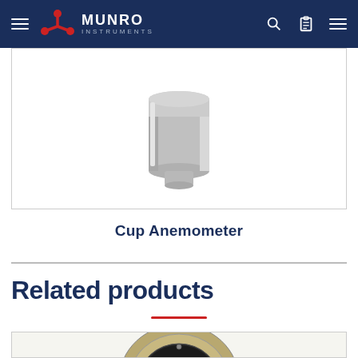Munro Instruments navigation bar
[Figure (photo): Cup Anemometer product photo — grey cylindrical instrument against white background with border]
Cup Anemometer
Related products
[Figure (photo): Related product photo — partially visible circular metallic instrument at bottom of page]